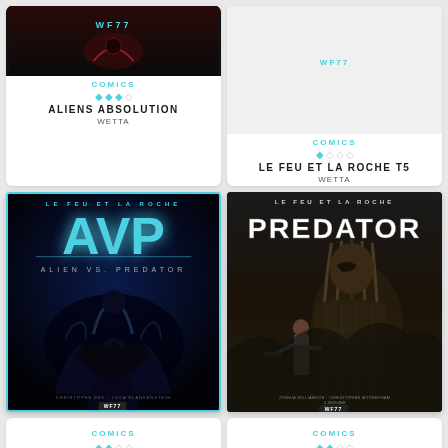[Figure (illustration): Card for Aliens Absolution comic: dark cover image with WF77 logo, rated 3.5/4 stars, genre COMICS, author WETTA]
[Figure (illustration): Card for Le Feu et La Roche T5 comic: minimal cover, rated 1/4 stars, genre COMICS, author WETTA]
[Figure (illustration): Large card: AVP Alien vs. Predator comic book cover with LE FEU ET LA ROCHE header, blue cyan AVP logo, dark sci-fi imagery]
[Figure (illustration): Large card: Predator comic book cover with LE FEU ET LA ROCHE header, PREDATOR title, predator warrior figure]
[Figure (illustration): Partial bottom card left: COMICS genre with 2 blue stars rating]
[Figure (illustration): Partial bottom card right: COMICS genre with 2 blue stars rating]